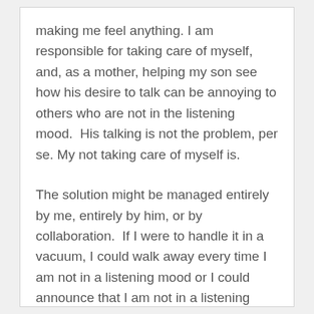making me feel anything. I am responsible for taking care of myself, and, as a mother, helping my son see how his desire to talk can be annoying to others who are not in the listening mood.  His talking is not the problem, per se. My not taking care of myself is.
The solution might be managed entirely by me, entirely by him, or by collaboration.  If I were to handle it in a vacuum, I could walk away every time I am not in a listening mood or I could announce that I am not in a listening mood the second I realize it.  On my own, there is no way to make him stop talking or to have better social skills.